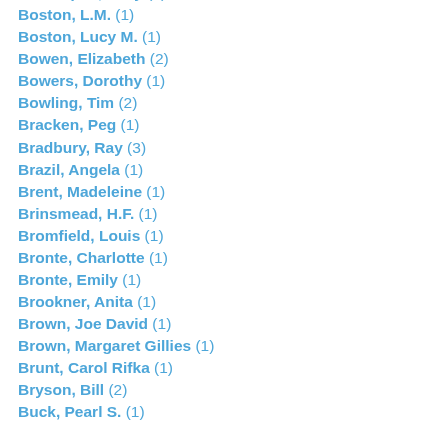Bosanquet, Mary (1)
Boston, L.M. (1)
Boston, Lucy M. (1)
Bowen, Elizabeth (2)
Bowers, Dorothy (1)
Bowling, Tim (2)
Bracken, Peg (1)
Bradbury, Ray (3)
Brazil, Angela (1)
Brent, Madeleine (1)
Brinsmead, H.F. (1)
Bromfield, Louis (1)
Bronte, Charlotte (1)
Bronte, Emily (1)
Brookner, Anita (1)
Brown, Joe David (1)
Brown, Margaret Gillies (1)
Brunt, Carol Rifka (1)
Bryson, Bill (2)
Buck, Pearl S. (1)